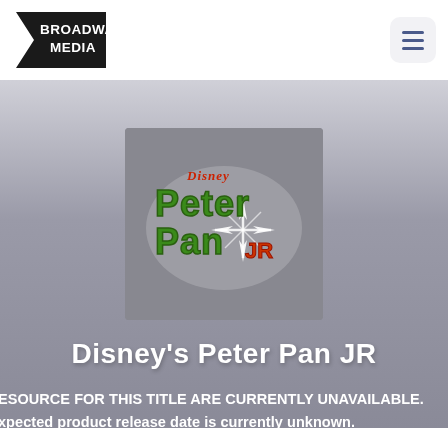[Figure (logo): Broadway Media logo — black angular arrow/pennant shape with white text 'BROADWAY MEDIA']
[Figure (illustration): Hamburger menu icon button — light gray rounded rectangle with three horizontal navy lines]
[Figure (logo): Disney's Peter Pan JR show logo on gray background square — green and red stylized lettering with sparkle/compass star motif]
Disney's Peter Pan JR
ESOURCE FOR THIS TITLE ARE CURRENTLY UNAVAILABLE. xpected product release date is currently unknown. lease sign up below to receive a notification and no-ligation proposal for your production.